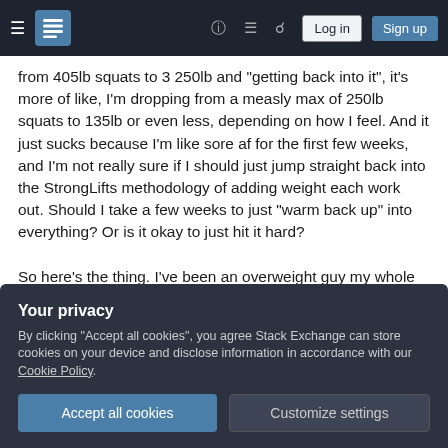Stack Exchange navigation bar with hamburger menu, logo, help icon, chat icon, search icon, Log in button, Sign up button
from 405lb squats to 3 250lb and "getting back into it", it's more of like, I'm dropping from a measly max of 250lb squats to 135lb or even less, depending on how I feel. And it just sucks because I'm like sore af for the first few weeks, and I'm not really sure if I should just jump straight back into the StrongLifts methodology of adding weight each work out. Should I take a few weeks to just "warm back up" into everything? Or is it okay to just hit it hard?
So here's the thing. I've been an overweight guy my whole life. Not overweight by relatively that much
plate for me would probably be a great achievement and it'd be great to keep at it if I
Your privacy
By clicking "Accept all cookies", you agree Stack Exchange can store cookies on your device and disclose information in accordance with our Cookie Policy.
Accept all cookies   Customize settings